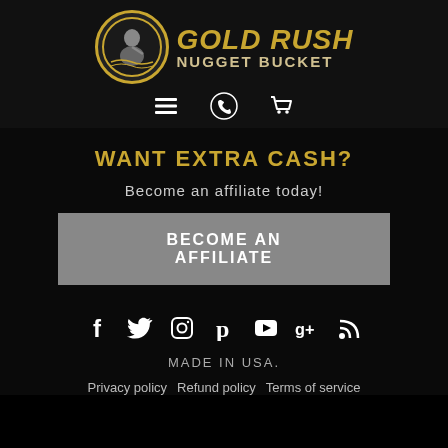[Figure (logo): Gold Rush Nugget Bucket logo with circular emblem and gold text]
[Figure (infographic): Navigation icons: hamburger menu, phone, shopping cart]
WANT EXTRA CASH?
Become an affiliate today!
BECOME AN AFFILIATE
[Figure (infographic): Social media icons: Facebook, Twitter, Instagram, Pinterest, YouTube, Google+, RSS]
MADE IN USA.
Privacy policy   Refund policy   Terms of service